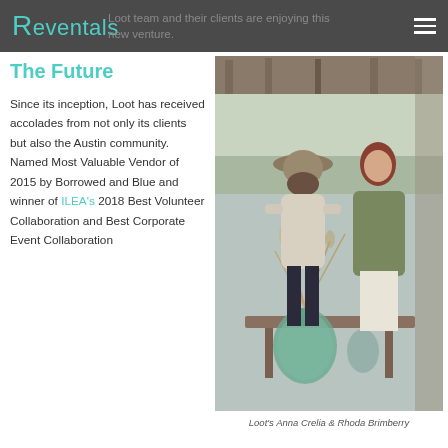Reventals
Loot team and their clients are enjoying this new venture.
The Future
Since its inception, Loot has received accolades from not only its clients but also the Austin community. Named Most Valuable Vendor of 2015 by Borrowed and Blue and winner of ILEA's 2018 Best Volunteer Collaboration and Best Corporate Event Collaboration
[Figure (photo): Two women arranging dried flowers in glass vases on a wooden table on a porch. One wears a hat and light jacket; the other wears an olive wrap. Outdoor background visible.]
Loot's Anna Crelia & Rhoda Brimberry